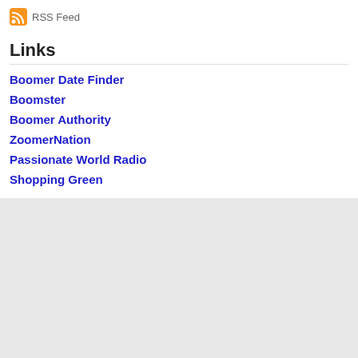[Figure (logo): RSS feed icon (orange square with white signal waves) followed by text 'RSS Feed']
Links
Boomer Date Finder
Boomster
Boomer Authority
ZoomerNation
Passionate World Radio
Shopping Green